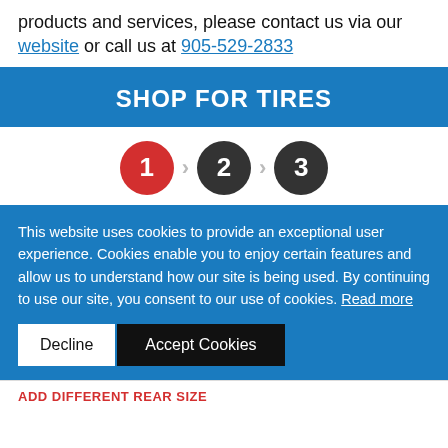products and services, please contact us via our website or call us at 905-529-2833
SHOP FOR TIRES
[Figure (infographic): Step progress indicator with 3 numbered circles (1 in red, 2 and 3 in dark gray) connected by arrow chevrons]
This website uses cookies to provide an exceptional user experience. Cookies enable you to enjoy certain features and allow us to understand how our site is being used. By continuing to use our site, you consent to our use of cookies. Read more
ADD DIFFERENT REAR SIZE